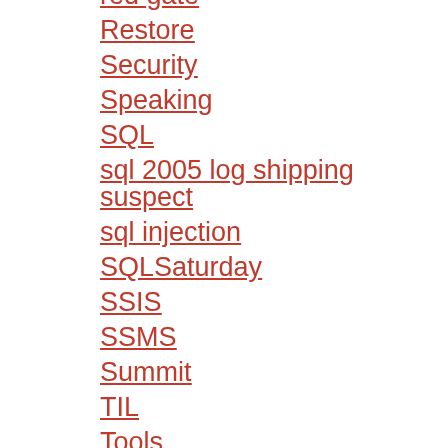red gate
Restore
Security
Speaking
SQL
sql 2005 log shipping suspect
sql injection
SQLSaturday
SSIS
SSMS
Summit
TIL
Tools
Training
Troubleshooting
TSQL
TSQL2sday